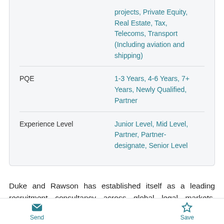|  |  |
| --- | --- |
|  | projects, Private Equity, Real Estate, Tax, Telecoms, Transport (Including aviation and shipping) |
| PQE | 1-3 Years, 4-6 Years, 7+ Years, Newly Qualified, Partner |
| Experience Level | Junior Level, Mid Level, Partner, Partner-designate, Senior Level |
Duke and Rawson has established itself as a leading recruitment consultancy across global legal markets, offering strategic advice to candidates who are seeking an international move.